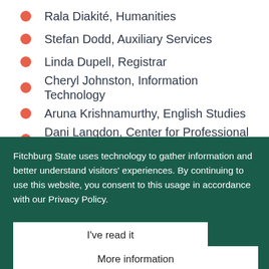Rala Diakité, Humanities
Stefan Dodd, Auxiliary Services
Linda Dupell, Registrar
Cheryl Johnston, Information Technology
Aruna Krishnamurthy, English Studies
Dani Langdon, Center for Professional Studies
Fitchburg State uses technology to gather information and better understand visitors' experiences. By continuing to use this website, you consent to this usage in accordance with our Privacy Policy.
I've read it
More information